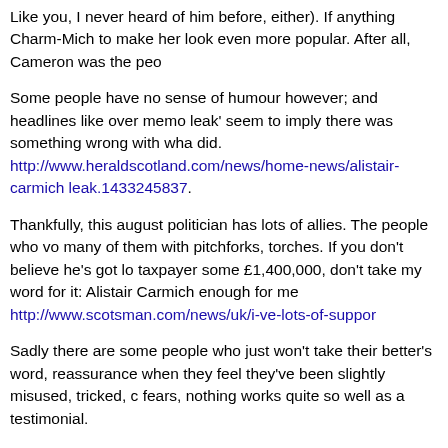Like you, I never heard of him before, either). If anything Charm-Mich to make her look even more popular. After all, Cameron was the peo
Some people have no sense of humour however; and headlines like over memo leak' seem to imply there was something wrong with wha did. http://www.heraldscotland.com/news/home-news/alistair-carmich leak.1433245837.
Thankfully, this august politician has lots of allies. The people who vo many of them with pitchforks, torches. If you don't believe he's got lo taxpayer some £1,400,000, don't take my word for it: Alistair Carmich enough for me http://www.scotsman.com/news/uk/i-ve-lots-of-suppor
Sadly there are some people who just won't take their better's word, reassurance when they feel they've been slightly misused, tricked, c fears, nothing works quite so well as a testimonial.
Testimonial: (English noun) A statement given in support of a cause
Carmichael indeed has his friends, and none perhaps better than Lib